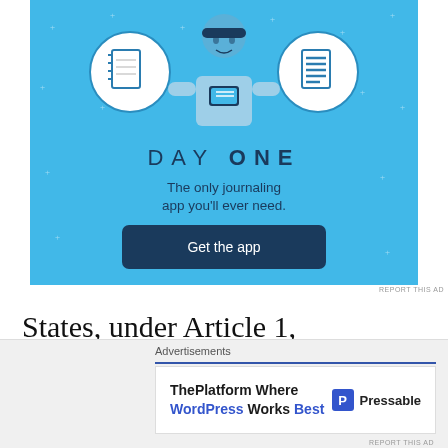[Figure (illustration): Day One journaling app advertisement with blue background, icons of a notebook, a person using phone, and a list. Text reads DAY ONE - The only journaling app you'll ever need. Get the app button.]
States, under Article 1, Section 10 of the U.S. Constitution, may go to war against actual invasion without any federal or Congressional
[Figure (illustration): Bottom advertisement strip: ThePlatform Where WordPress Works Best - Pressable]